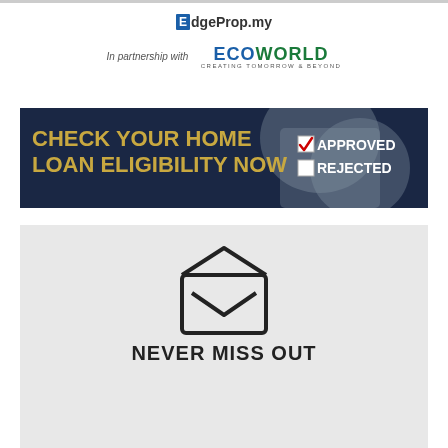[Figure (logo): EdgeProp.my logo with blue E icon]
[Figure (logo): EcoWorld logo with tagline CREATING TOMORROW & BEYOND, in partnership with text]
[Figure (photo): Banner advertisement: CHECK YOUR HOME LOAN ELIGIBILITY NOW with approved/rejected checkboxes on dark blue background with hand holding pen]
[Figure (illustration): Open envelope icon on grey background above NEVER MISS OUT text]
NEVER MISS OUT